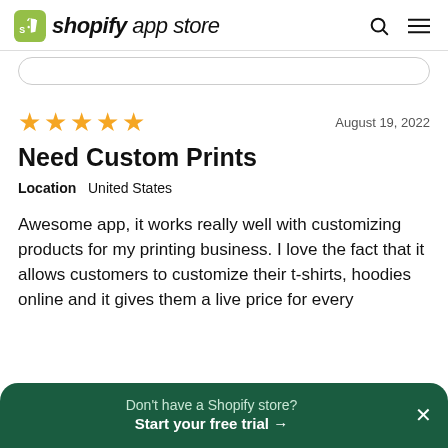shopify app store
[Figure (screenshot): Shopify App Store review page showing a 5-star review titled 'Need Custom Prints' from United States, dated August 19, 2022, with review text and a CTA banner at the bottom.]
★★★★★   August 19, 2022
Need Custom Prints
Location   United States
Awesome app, it works really well with customizing products for my printing business. I love the fact that it allows customers to customize their t-shirts, hoodies online and it gives them a live price for every detail they add.
Don't have a Shopify store? Start your free trial →